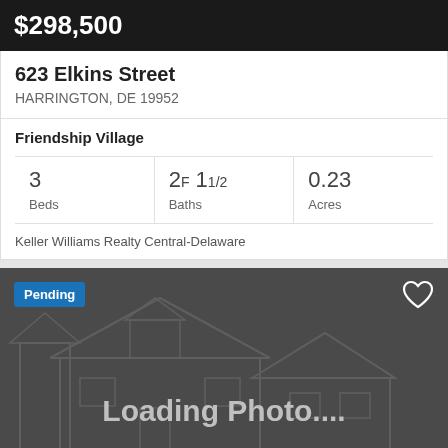$298,500
623 Elkins Street
HARRINGTON, DE 19952
Friendship Village
3 Beds | 2F 1 1/2 Baths | 0.23 Acres
Keller Williams Realty Central-Delaware
[Figure (photo): Property listing photo placeholder showing 'Loading Photo...' with a house outline silhouette on a dark gray background. A 'Pending' badge is shown in the top left and a heart/favorite icon in the top right.]